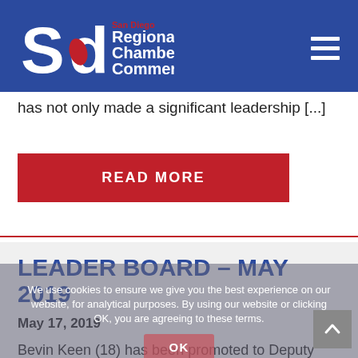[Figure (logo): San Diego Regional Chamber of Commerce logo on blue banner with hamburger menu icon]
has not only made a significant leadership [...]
READ MORE
LEADER BOARD – MAY 2019
May 17, 2019
Bevin Keen (18) has been promoted to Deputy